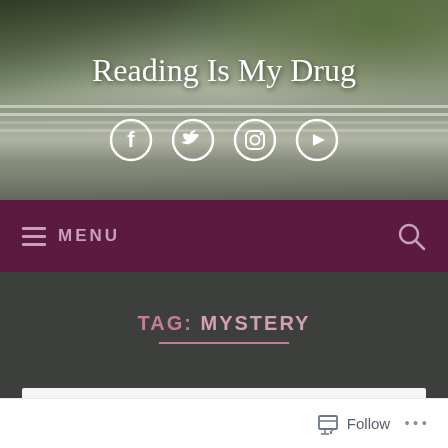[Figure (photo): Header background photo of stacked books with a green plant/mug visible at top right, muted earthy tones]
Reading Is My Drug
[Figure (infographic): Social media icons: Facebook, Twitter, Instagram, YouTube — white circular outline icons on photo background]
≡ MENU
TAG: MYSTERY
Follow
Follow ...